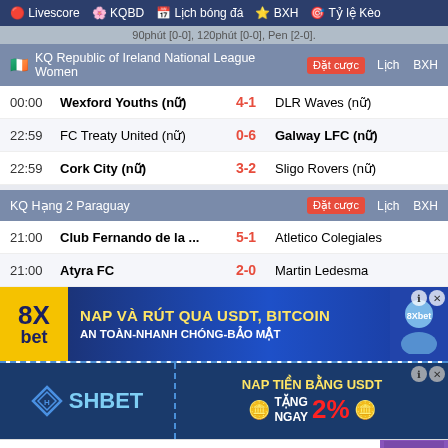Livescore  KQBD  Lịch bóng đá  BXH  Tỷ lệ Kèo
90phút [0-0], 120phút [0-0], Pen [2-0].
KQ Republic of Ireland National League Women  Đặt cược  Lịch  BXH
| Time | Home | Score | Away |
| --- | --- | --- | --- |
| 00:00 | Wexford Youths (nữ) | 4-1 | DLR Waves (nữ) |
| 22:59 | FC Treaty United (nữ) | 0-6 | Galway LFC (nữ) |
| 22:59 | Cork City (nữ) | 3-2 | Sligo Rovers (nữ) |
KQ Hạng 2 Paraguay  Đặt cược  Lịch  BXH
| Time | Home | Score | Away |
| --- | --- | --- | --- |
| 21:00 | Club Fernando de la ... | 5-1 | Atletico Colegiales |
| 21:00 | Atyra FC | 2-0 | Martin Ledesma |
[Figure (other): 8Xbet advertisement banner: NAP VÀ RÚT QUA USDT, BITCOIN - AN TOÀN-NHANH CHÓNG-BẢO MẬT]
[Figure (other): SHBET advertisement banner: NAP TIỀN BẰNG USDT - TẶNG NGAY 2%]
[Figure (other): XINH.TV advertisement banner: THIÊN ĐƯỜNG CHO TẤT CẢ ĐÀN ÔNG - APP 18+ ĐẦU TIÊN TRONG NƯỚC]